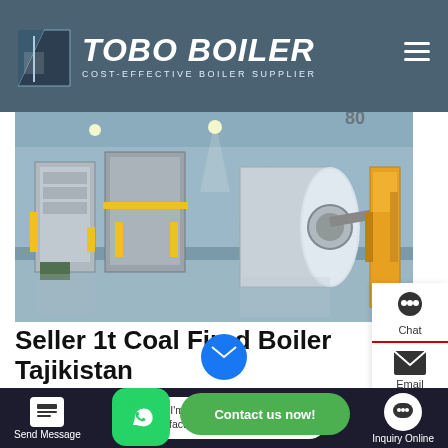TOBO BOILER — COST-EFFECTIVE BOILER SUPPLIER
[Figure (photo): Industrial boiler room with multiple large gas/oil-fired boilers, yellow piping, and reflective floors]
Seller 1t Coal Fired Boiler Tajikistan
Seller 1t Coal Fired Boiler Tajikistan. 6 Ton oil fired Boiler Manufacturers Industrial Latvia. 6t h...
Hello, I'm Rachel, Welcome! we are boiler factory!
Send Message    Inquiry Online